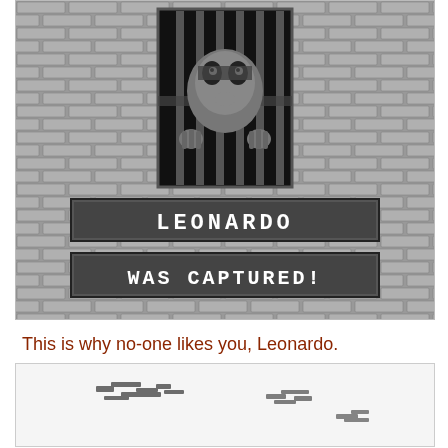[Figure (screenshot): Game Boy / retro video game screenshot showing a turtle character (Leonardo from TMNT) behind bars on a brick wall background. Two text banners display 'LEONARDO' and 'WAS CAPTURED!' in pixelated white text on dark gray backgrounds.]
This is why no-one likes you, Leonardo.
[Figure (screenshot): Partial screenshot at bottom of page showing pixelated sprite graphics on a white/light background, appearing to show small dark sprite clusters.]